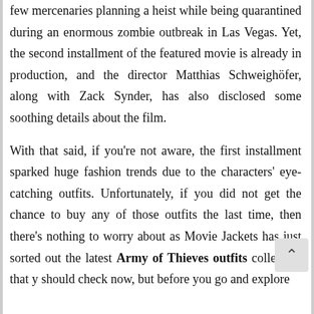few mercenaries planning a heist while being quarantined during an enormous zombie outbreak in Las Vegas. Yet, the second installment of the featured movie is already in production, and the director Matthias Schweighöfer, along with Zack Synder, has also disclosed some soothing details about the film.
With that said, if you're not aware, the first installment sparked huge fashion trends due to the characters' eye-catching outfits. Unfortunately, if you did not get the chance to buy any of those outfits the last time, then there's nothing to worry about as Movie Jackets has just sorted out the latest Army of Thieves outfits collection that you should check now, but before you go and explore